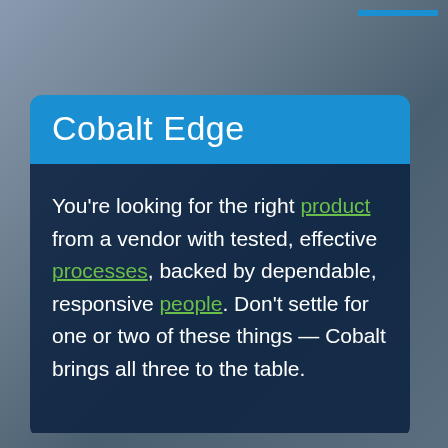Cobalt Edge
You're looking for the right product from a vendor with tested, effective processes, backed by dependable, responsive people. Don't settle for one or two of these things — Cobalt brings all three to the table.